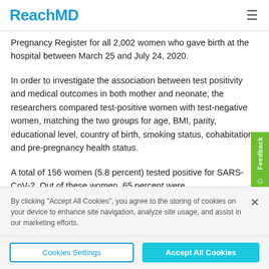ReachMD
Pregnancy Register for all 2,002 women who gave birth at the hospital between March 25 and July 24, 2020.
In order to investigate the association between test positivity and medical outcomes in both mother and neonate, the researchers compared test-positive women with test-negative women, matching the two groups for age, BMI, parity, educational level, country of birth, smoking status, cohabitation, and pre-pregnancy health status.
A total of 156 women (5.8 percent) tested positive for SARS-CoV-2. Out of these women, 65 percent were
By clicking "Accept All Cookies", you agree to the storing of cookies on your device to enhance site navigation, analyze site usage, and assist in our marketing efforts.
Cookies Settings
Accept All Cookies